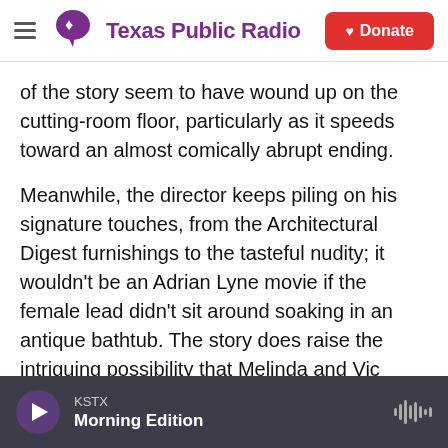Texas Public Radio | Donate
of the story seem to have wound up on the cutting-room floor, particularly as it speeds toward an almost comically abrupt ending.
Meanwhile, the director keeps piling on his signature touches, from the Architectural Digest furnishings to the tasteful nudity; it wouldn't be an Adrian Lyne movie if the female lead didn't sit around soaking in an antique bathtub. The story does raise the intriguing possibility that Melinda and Vic might be engaging in some kinky extended role play, but whatever game these two are up to isn't, in the end, terribly interesting.
KSTX  Morning Edition